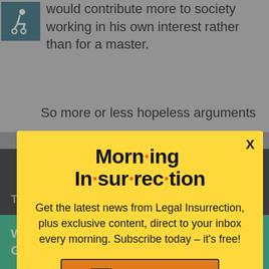would contribute more to society working in his own interest rather than for a master.
So more or less hopeless arguments
[Figure (screenshot): Modal popup advertisement for Morning Insurrection newsletter with yellow background, title 'Morn·ing In·sur·rec·tion', body text 'Get the latest news from Legal Insurrection, plus exclusive content, direct to your inbox every morning. Subscribe today – it's free!', and an orange JOIN NOW button with envelope icon. Has an X close button in top right corner.]
The conflict was a ut finally defeating top
[Figure (infographic): Green Fiverr advertisement banner: 'Working from home? Get your projects done on fiverr']